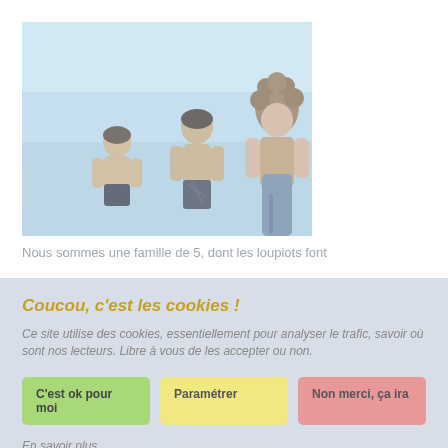[Figure (photo): Three children viewed from behind standing at the edge of water on a beach. Light blue sky and calm water in the background. The children are wearing swimwear.]
Nous sommes une famille de 5, dont les loupiots font
Coucou, c'est les cookies !
Ce site utilise des cookies, essentiellement pour analyser le trafic, savoir où sont nos lecteurs. Libre à vous de les accepter ou non.
C'est ok pour moi
Paramétrer
Non merci, ça ira
En savoir plus